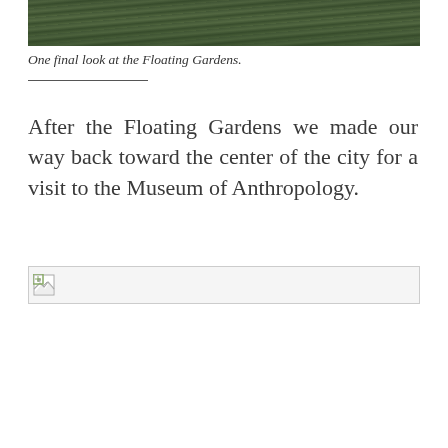[Figure (photo): Top portion of a photo showing dark water with reflections, likely the Floating Gardens (Xochimilco). Only the top strip is visible, showing rippling water with green and dark tones.]
One final look at the Floating Gardens.
After the Floating Gardens we made our way back toward the center of the city for a visit to the Museum of Anthropology.
[Figure (photo): Broken/missing image placeholder at the bottom of the page.]